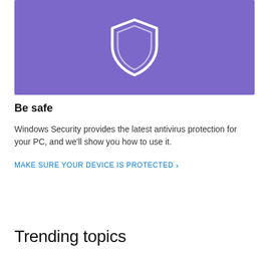[Figure (illustration): Purple banner with a white shield icon centered on it]
Be safe
Windows Security provides the latest antivirus protection for your PC, and we'll show you how to use it.
MAKE SURE YOUR DEVICE IS PROTECTED >
Trending topics